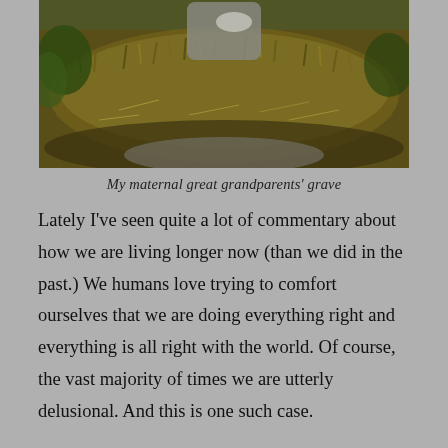[Figure (photo): A mossy, overgrown grave with a stone, covered in dry grass and moss, surrounded by greenery.]
My maternal great grandparents' grave
Lately I've seen quite a lot of commentary about how we are living longer now (than we did in the past.) We humans love trying to comfort ourselves that we are doing everything right and everything is all right with the world. Of course, the vast majority of times we are utterly delusional. And this is one such case.
The photo above is of my maternal great grandparents' grave. As you can see they lived to a great age. Sadly some of their children did not, but many did. Hardly